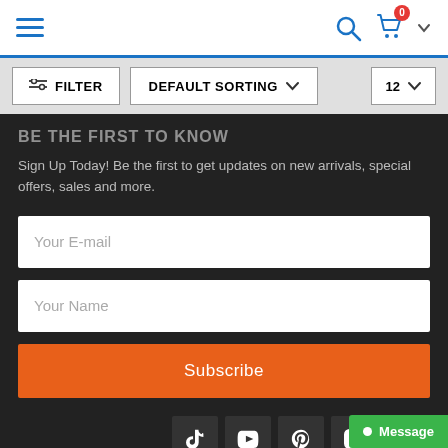[Figure (screenshot): E-commerce website navigation bar with hamburger menu icon on left, search icon and cart (badge showing 0) with chevron on right]
[Figure (screenshot): Filter bar with FILTER button, DEFAULT SORTING dropdown, and 12 count dropdown]
BE THE FIRST TO KNOW
Sign Up Today! Be the first to get updates on new arrivals, special offers, sales and more.
[Figure (screenshot): Email subscription form with Your E-mail input, Your Name input, and Subscribe button]
[Figure (screenshot): Social media icons row: TikTok, YouTube, Pinterest, Instagram, Facebook]
Message